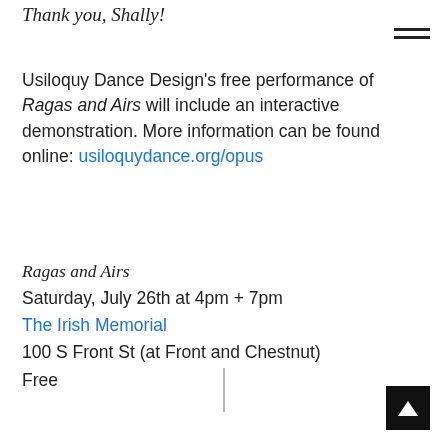Thank you, Shally!
Usiloquy Dance Design's free performance of Ragas and Airs will include an interactive demonstration. More information can be found online: usiloquydance.org/opus
Ragas and Airs
Saturday, July 26th at 4pm + 7pm
The Irish Memorial
100 S Front St (at Front and Chestnut)
Free
—Miriam Hwang-Carlos
Tags